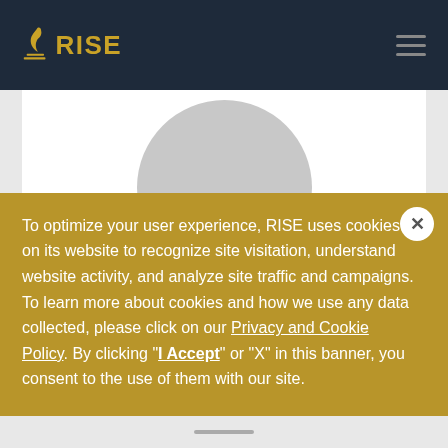RISE
[Figure (illustration): Circular grey avatar/profile image placeholder centered on white background]
94% college athletes
To optimize your user experience, RISE uses cookies on its website to recognize site visitation, understand website activity, and analyze site traffic and campaigns. To learn more about cookies and how we use any data collected, please click on our Privacy and Cookie Policy. By clicking "I Accept" or "X" in this banner, you consent to the use of them with our site.